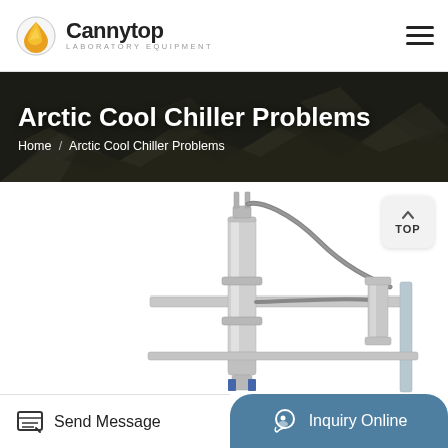[Figure (logo): Cannytop Laboratory Equipment logo with orange/yellow teardrop icon]
Arctic Cool Chiller Problems
Home / Arctic Cool Chiller Problems
[Figure (photo): Laboratory chiller equipment - stainless steel cylindrical apparatus with tubing mounted on metal frame]
Send Message
Inquiry Online